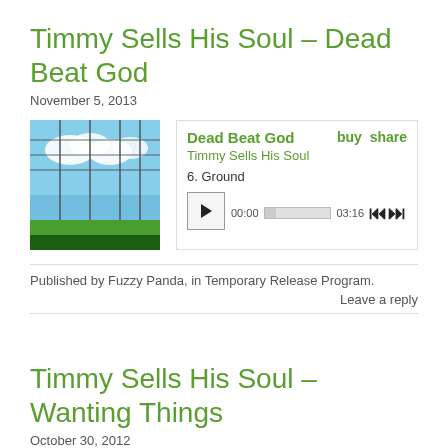Timmy Sells His Soul – Dead Beat God
November 5, 2013
[Figure (screenshot): Music player widget showing album art for Dead Beat God by Timmy Sells His Soul, with play controls, track 6. Ground, progress bar showing 00:00 to 03:16, buy and share links]
Published by Fuzzy Panda, in Temporary Release Program.
Leave a reply
Timmy Sells His Soul – Wanting Things
October 30, 2012